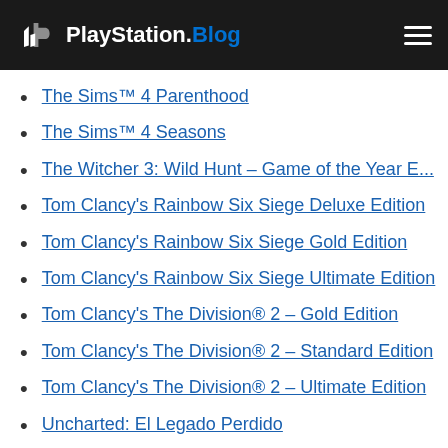PlayStation.Blog
The Sims™ 4 Parenthood
The Sims™ 4 Seasons
The Witcher 3: Wild Hunt – Game of the Year E...
Tom Clancy's Rainbow Six Siege Deluxe Edition
Tom Clancy's Rainbow Six Siege Gold Edition
Tom Clancy's Rainbow Six Siege Ultimate Edition
Tom Clancy's The Division® 2 – Gold Edition
Tom Clancy's The Division® 2 – Standard Edition
Tom Clancy's The Division® 2 – Ultimate Edition
Uncharted: El Legado Perdido
UNCHARTED™ 4: A Thief's End Digital Edition